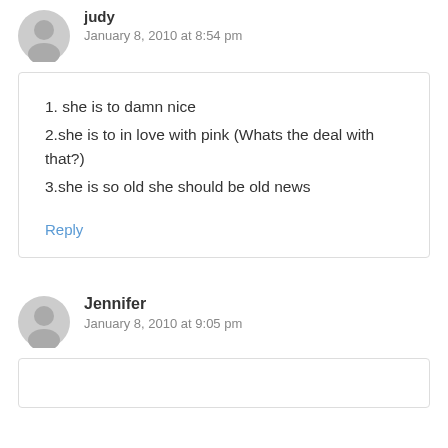judy
January 8, 2010 at 8:54 pm
1. she is to damn nice
2.she is to in love with pink (Whats the deal with that?)
3.she is so old she should be old news
Reply
Jennifer
January 8, 2010 at 9:05 pm